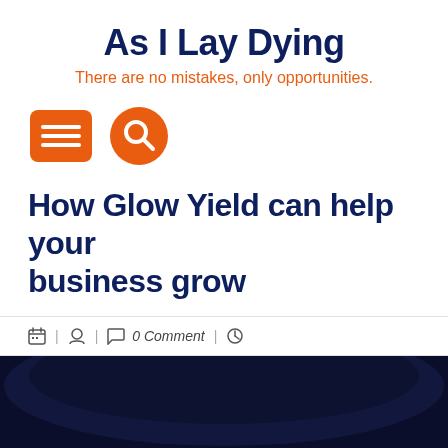As I Lay Dying
There are no mistakes, only opportunities.
[Figure (infographic): Orange rounded-rectangle hamburger menu button and orange circle search button navigation icons]
How Glow Yield can help your business grow
🗓 | 👤 | 💬 0 Comment | 🕐
[Figure (photo): Dark navy/black rounded box photographed from above at an angle, partially visible at the bottom of the page]